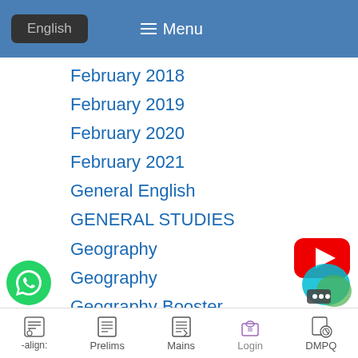English  Menu
February 2018
February 2019
February 2020
February 2021
General English
GENERAL STUDIES
Geography
Geography
Geography Booster
Geography Free Mock Quiz
eography of India
[Figure (logo): YouTube play button logo (red rectangle with white triangle)]
[Figure (logo): WhatsApp logo (green circle with phone icon)]
[Figure (logo): Chat bubble icon (teal/green bubble with dots)]
-align:  Prelims  Mains  Login  DMPQ